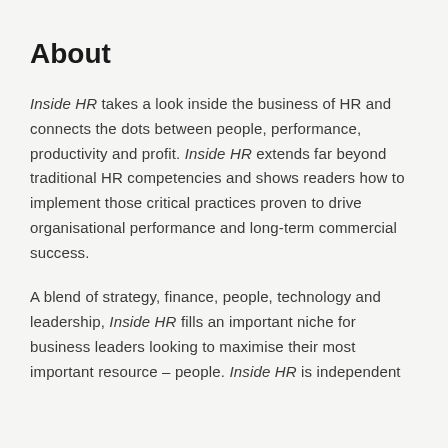About
Inside HR takes a look inside the business of HR and connects the dots between people, performance, productivity and profit. Inside HR extends far beyond traditional HR competencies and shows readers how to implement those critical practices proven to drive organisational performance and long-term commercial success.
A blend of strategy, finance, people, technology and leadership, Inside HR fills an important niche for business leaders looking to maximise their most important resource – people. Inside HR is independent